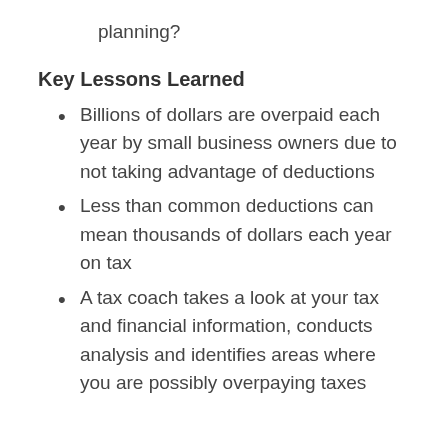planning?
Key Lessons Learned
Billions of dollars are overpaid each year by small business owners due to not taking advantage of deductions
Less than common deductions can mean thousands of dollars each year on tax
A tax coach takes a look at your tax and financial information, conducts analysis and identifies areas where you are possibly overpaying taxes